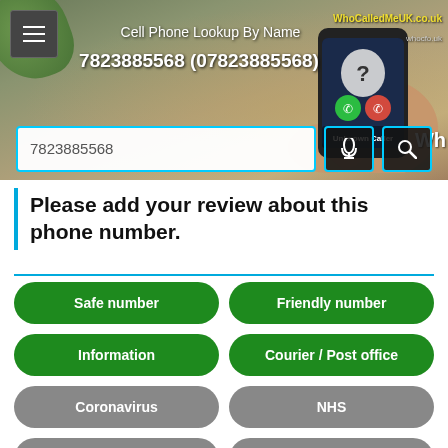[Figure (screenshot): Hero banner with phone lookup website WhoCalledMeUK.co.uk, showing a smartphone with 'Unknown Caller' screen, hamburger menu, search field with number 7823885568, mic and search buttons]
Please add your review about this phone number.
Safe number
Friendly number
Information
Courier / Post office
Coronavirus
NHS
Silent call
HSBC